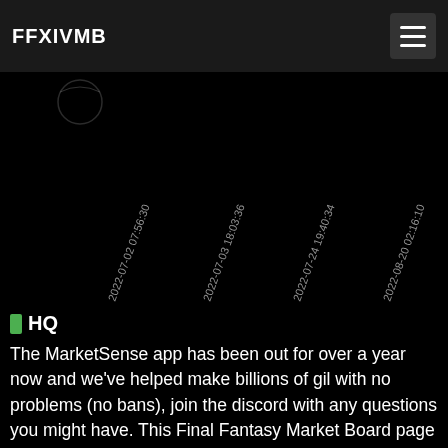FFXIVMB
[Figure (continuous-plot): Dark background chart with rotated timestamp labels along x-axis: 2022-07-02 07:56:30, 2022-07-03 18:03:36, 2022-07-24 19:40:34, 2022-08-20 02:16:10. A faint circular element visible at top left of chart area.]
HQ
The MarketSense app has been out for over a year now and we've helped make billions of gil with no problems (no bans), join the discord with any questions you might have. This Final Fantasy Market Board page is not affiliated with or owned by Square Enix or any of its affiliated companies. Some of the text (item names) are copyrighted by Square Enix and its various contributors such as Nobuo Uematsu and others who are easily found and recognizable. No copyright is claimed as to any of the content previously copyrighted by other parties, and to the extent that material may appear to be infringed, I assert that such alleged